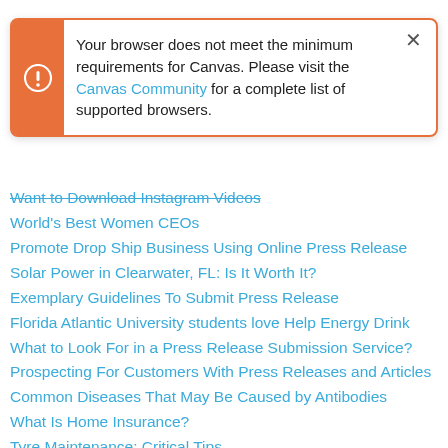[Figure (screenshot): Browser warning popup dialog with orange left bar and exclamation icon, text: 'Your browser does not meet the minimum requirements for Canvas. Please visit the Canvas Community for a complete list of supported browsers.' with a close X button.]
Want to Download Instagram Videos
World's Best Women CEOs
Promote Drop Ship Business Using Online Press Release
Solar Power in Clearwater, FL: Is It Worth It?
Exemplary Guidelines To Submit Press Release
Florida Atlantic University students love Help Energy Drink
What to Look For in a Press Release Submission Service?
Prospecting For Customers With Press Releases and Articles
Common Diseases That May Be Caused by Antibodies
What Is Home Insurance?
Tyre Maintenance: Critical Tips
What Items Can You Personalize As A Gift?